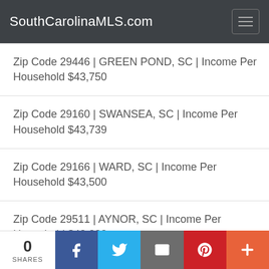SouthCarolinaMLS.com
Zip Code 29446 | GREEN POND, SC | Income Per Household $43,750
Zip Code 29160 | SWANSEA, SC | Income Per Household $43,739
Zip Code 29166 | WARD, SC | Income Per Household $43,500
Zip Code 29511 | AYNOR, SC | Income Per Household $43,333
Zip Code 29605 | GREENVILLE, SC | Income Per Household $43,100
0 SHARES | Facebook | Twitter | Email | Pinterest | More